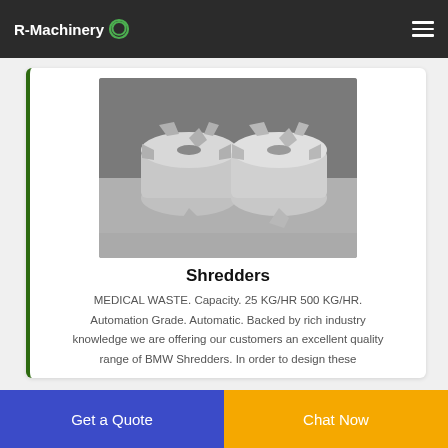R-Machinery
[Figure (photo): Two industrial shredder cutting rotors/blades stacked, metallic grey, in a workshop setting]
Shredders
MEDICAL WASTE. Capacity. 25 KG/HR 500 KG/HR. Automation Grade. Automatic. Backed by rich industry knowledge we are offering our customers an excellent quality range of BMW Shredders. In order to design these
Get a Quote
Chat Now